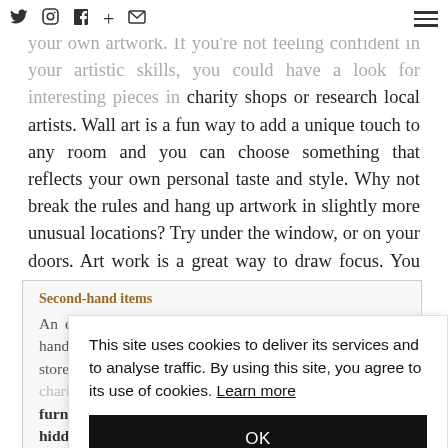Twitter Instagram Facebook + Email [hamburger menu]
your own artwork. If you're not feeling confident in your artistic skills, you could have a look for interesting pieces in charity shops or research local artists. Wall art is a fun way to add a unique touch to any room and you can choose something that reflects your own personal taste and style. Why not break the rules and hang up artwork in slightly more unusual locations? Try under the window, or on your doors. Art work is a great way to draw focus. You could even add whimsy or your own sense of humour with art.
Second-hand items
An easy and inexpensive way to decorate with second-hand items. There are plenty of flea markets and antique stores these, have a look at second-hand markets or in charity shops. You can also find plenty of second-hand furniture and decorations online. You be amazed what hidden gems are out there, and still in great condition. Going second-hand is also much better for the environment, and your wallet.
This site uses cookies to deliver its services and to analyse traffic. By using this site, you agree to its use of cookies. Learn more
OK